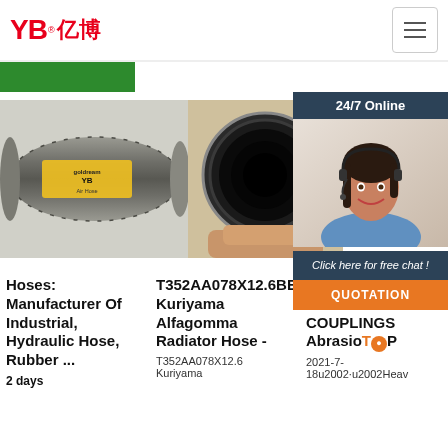YB亿博® logo with hamburger menu
[Figure (photo): Grey rubber air hose with yellow label reading 'YB Air Hose']
[Figure (photo): Cross-section of a black braided hydraulic hose held in a hand]
[Figure (photo): 24/7 Online customer service agent with headset, smiling]
24/7 Online
Click here for free chat !
QUOTATION
Hoses: Manufacturer Of Industrial, Hydraulic Hose, Rubber ...
2 days
T352AA078X12.6BE Kuriyama Alfagomma Radiator Hose -
T352AA078X12.6 Kuriyama
INDUSTRIAL HOSE AND COUPLINGS Abrasio
2021-7-18u2002·u2002Heav